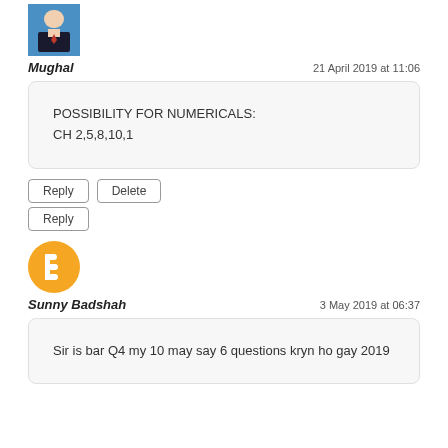[Figure (photo): Profile photo of Mughal - man in suit]
Mughal
21 April 2019 at 11:06
POSSIBILITY FOR NUMERICALS:
CH 2,5,8,10,1
Reply
Delete
Reply
[Figure (logo): Blogger orange circle logo icon]
Sunny Badshah
3 May 2019 at 06:37
Sir is bar Q4 my 10 may say 6 questions kryn ho gay 2019